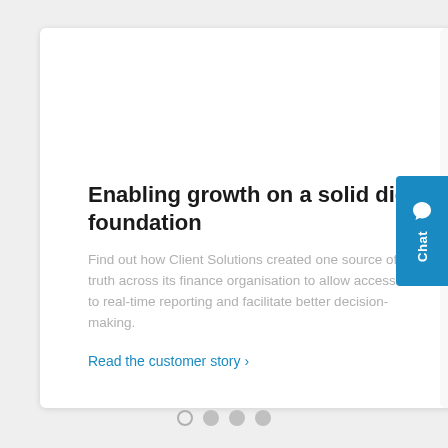Enabling growth on a solid digital foundation
Find out how Client Solutions created one source of truth across its finance organisation to allow access to real-time reporting and facilitate better decision-making.
Read the customer story ›